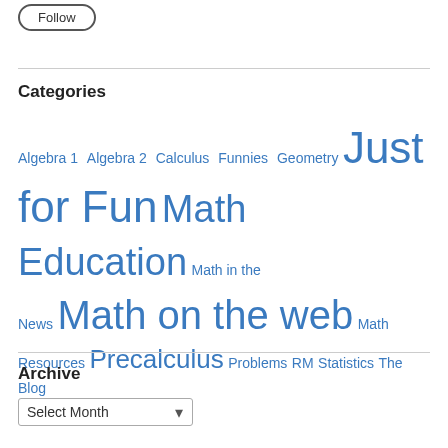Follow
Categories
Algebra 1  Algebra 2  Calculus  Funnies  Geometry  Just for Fun  Math Education  Math in the News  Math on the web  Math Resources  Precalculus  Problems  RM  Statistics  The Blog
Archive
Select Month